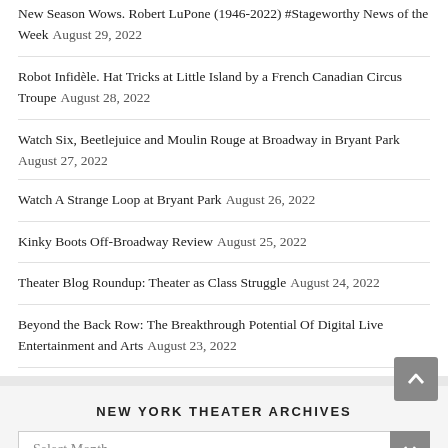New Season Wows. Robert LuPone (1946-2022) #Stageworthy News of the Week August 29, 2022
Robot Infidèle. Hat Tricks at Little Island by a French Canadian Circus Troupe August 28, 2022
Watch Six, Beetlejuice and Moulin Rouge at Broadway in Bryant Park August 27, 2022
Watch A Strange Loop at Bryant Park August 26, 2022
Kinky Boots Off-Broadway Review August 25, 2022
Theater Blog Roundup: Theater as Class Struggle August 24, 2022
Beyond the Back Row: The Breakthrough Potential Of Digital Live Entertainment and Arts August 23, 2022
NEW YORK THEATER ARCHIVES
Select Month